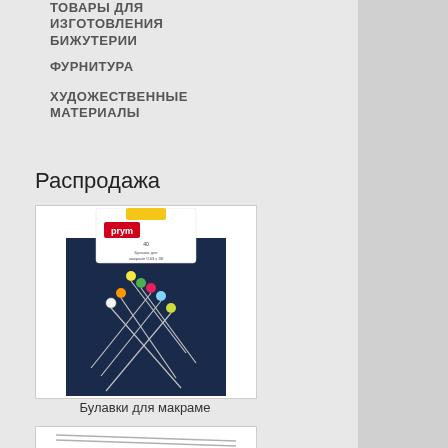ТОВАРЫ ДЛЯ ИЗГОТОВЛЕНИЯ БИЖУТЕРИИ
ФУРНИТУРА
ХУДОЖЕСТВЕННЫЕ МАТЕРИАЛЫ
Распродажа
[Figure (photo): Product photo of Prym macrame pins / sewing pins in packaging, showing colorful ball-head pins on dark fabric background]
Булавки для макраме
[Figure (photo): Partial product photo at bottom of page, showing what appears to be sewing needles or similar items]